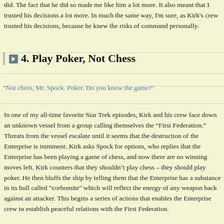did. The fact that he did so made me like him a lot more. It also meant that I trusted his decisions a lot more. In much the same way, I'm sure, as Kirk's crew trusted his decisions, because he knew the risks of command personally.
4. Play Poker, Not Chess
"Not chess, Mr. Spock. Poker. Do you know the game?"
In one of my all-time favorite Star Trek episodes, Kirk and his crew face down an unknown vessel from a group calling themselves the “First Federation.” Threats from the vessel escalate until it seems that the destruction of the Enterprise is imminent. Kirk asks Spock for options, who replies that the Enterprise has been playing a game of chess, and now there are no winning moves left. Kirk counters that they shouldn’t play chess – they should play poker. He then bluffs the ship by telling them that the Enterprise has a substance in its hull called "corbomite" which will reflect the energy of any weapon back against an attacker. This begins a series of actions that enables the Enterprise crew to establish peaceful relations with the First Federation.